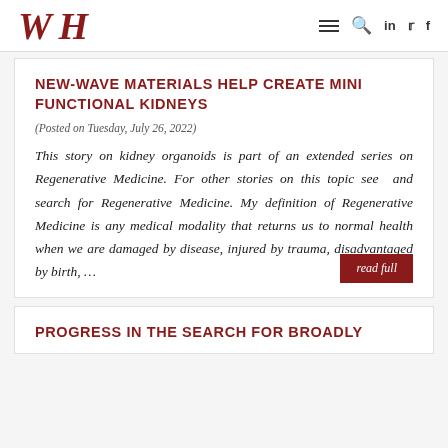WH
NEW-WAVE MATERIALS HELP CREATE MINI FUNCTIONAL KIDNEYS
(Posted on Tuesday, July 26, 2022)
This story on kidney organoids is part of an extended series on Regenerative Medicine. For other stories on this topic see  and search for Regenerative Medicine. My definition of Regenerative Medicine is any medical modality that returns us to normal health when we are damaged by disease, injured by trauma, disadvantaged by birth, …
read full
PROGRESS IN THE SEARCH FOR BROADLY